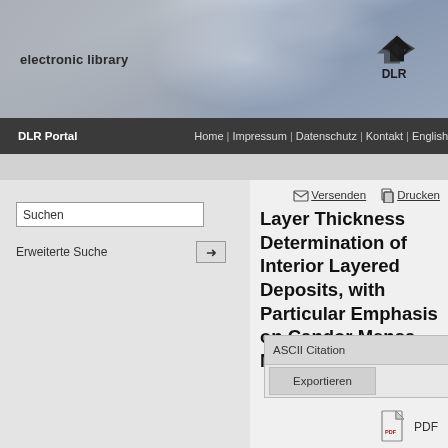electronic library
DLR Portal | Home | Impressum | Datenschutz | Kontakt | English
Suchen
Erweiterte Suche
Versenden   Drucken
Layer Thickness Determination of Interior Layered Deposits, with Particular Emphasis on Candor Mensa, Mars
ASCII Citation
Exportieren
Fueten, Frank und Harvey, R. und Stesky, Robert und Hauber, Ernst und Rossi, A.P. (2011) Layer Thickness Determination of Interior Layered Deposits, with Particular Emphasis on Candor Mensa, Mars. In: Lunar and Planetary Science XLII, 1608, Seite 1255. Lunar and Planetary Institute. 42nd Lunar and Planetary Science Conference, 07-11 March 2011, The Woodlands, Texas (USA).
PDF